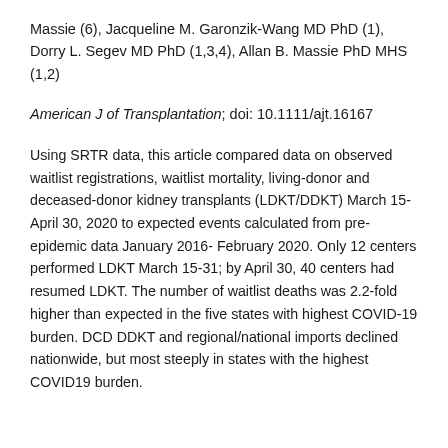Massie (6), Jacqueline M. Garonzik-Wang MD PhD (1), Dorry L. Segev MD PhD (1,3,4), Allan B. Massie PhD MHS (1,2)
American J of Transplantation; doi: 10.1111/ajt.16167
Using SRTR data, this article compared data on observed waitlist registrations, waitlist mortality, living-donor and deceased-donor kidney transplants (LDKT/DDKT) March 15-April 30, 2020 to expected events calculated from pre-epidemic data January 2016- February 2020. Only 12 centers performed LDKT March 15-31; by April 30, 40 centers had resumed LDKT. The number of waitlist deaths was 2.2-fold higher than expected in the five states with highest COVID-19 burden. DCD DDKT and regional/national imports declined nationwide, but most steeply in states with the highest COVID19 burden.